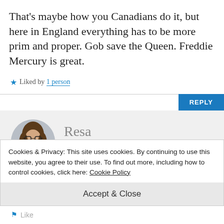That's maybe how you Canadians do it, but here in England everything has to be more prim and proper. Gob save the Queen. Freddie Mercury is great.
★ Liked by 1 person
REPLY
[Figure (photo): Circular avatar photo of a young woman with long hair and glasses]
Resa
NOVEMBER 10, 2018 AT 7:19
Cookies & Privacy: This site uses cookies. By continuing to use this website, you agree to their use. To find out more, including how to control cookies, click here: Cookie Policy
Accept & Close
Like